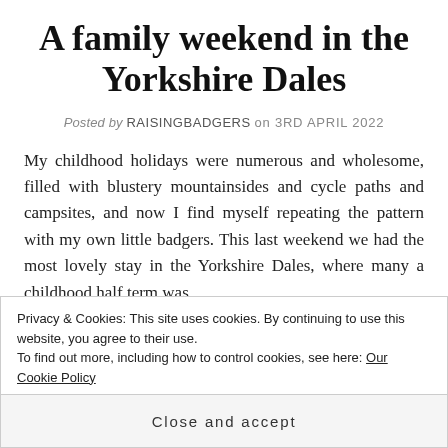A family weekend in the Yorkshire Dales
Posted by RAISINGBADGERS on 3RD APRIL 2022
My childhood holidays were numerous and wholesome, filled with blustery mountainsides and cycle paths and campsites, and now I find myself repeating the pattern with my own little badgers. This last weekend we had the most lovely stay in the Yorkshire Dales, where many a childhood half term was
Privacy & Cookies: This site uses cookies. By continuing to use this website, you agree to their use.
To find out more, including how to control cookies, see here: Our Cookie Policy
Close and accept